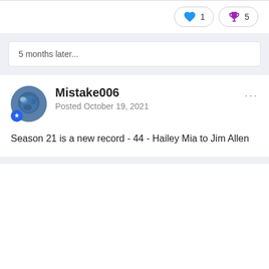[Figure (infographic): Reaction pills showing heart icon with count 1 and trophy icon with count 5]
5 months later...
Mistake006
Posted October 19, 2021
Season 21 is a new record - 44 - Hailey Mia to Jim Allen